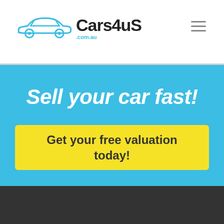[Figure (logo): Cars4uS.com.au logo with blue car silhouette outline and black bold text in white header bar]
Sell your car fast!
Get your free valuation today!
[Figure (logo): Cars4uS.com.au logo in white/blue on dark grey background footer]